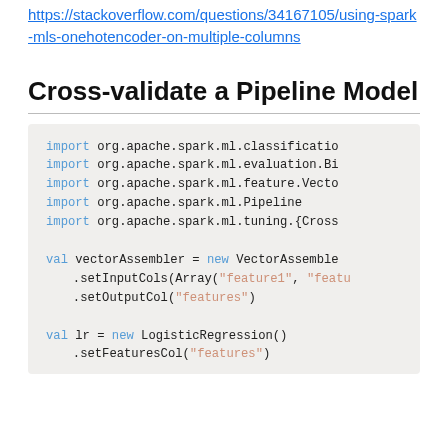https://stackoverflow.com/questions/34167105/using-spark-mls-onehotencoder-on-multiple-columns
Cross-validate a Pipeline Model
[Figure (screenshot): Scala/Spark code block showing imports and val declarations including vectorAssembler, lr with LogisticRegression]